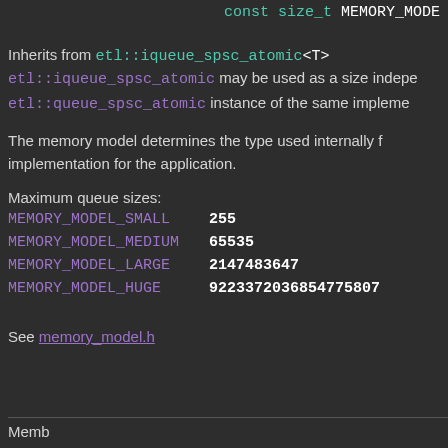const size_t MEMORY_MODE
Inherits from etl::iqueue_spsc_atomic<T>
etl::iqueue_spsc_atomic may be used as a size independent interface to any etl::queue_spsc_atomic instance of the same implementation for the application.
The memory model determines the type used internally for the implementation for the application.
Maximum queue sizes:
MEMORY_MODEL_SMALL    255
MEMORY_MODEL_MEDIUM   65535
MEMORY_MODEL_LARGE    2147483647
MEMORY_MODEL_HUGE     9223372036854775807
See memory_model.h
Member